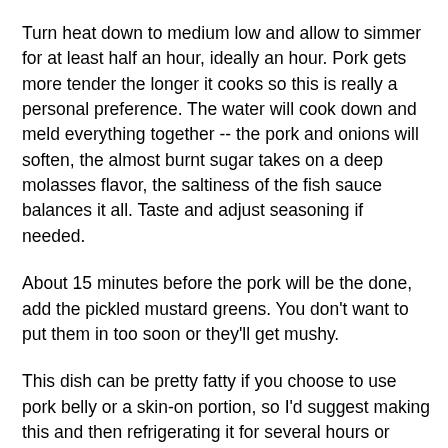lieu of the water. Taste and adjust sugar or fish sauce if necessary.
Turn heat down to medium low and allow to simmer for at least half an hour, ideally an hour. Pork gets more tender the longer it cooks so this is really a personal preference. The water will cook down and meld everything together -- the pork and onions will soften, the almost burnt sugar takes on a deep molasses flavor, the saltiness of the fish sauce balances it all. Taste and adjust seasoning if needed.
About 15 minutes before the pork will be the done, add the pickled mustard greens. You don't want to put them in too soon or they'll get mushy.
This dish can be pretty fatty if you choose to use pork belly or a skin-on portion, so I'd suggest making this and then refrigerating it for several hours or overnight. The excess fat will congeal for easy removal. Just reheat by letting it simmer for a few minutes.
Serve with rice.